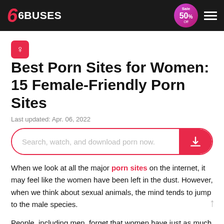6BUSES | Sale 50% Off
Best Porn Sites for Women: 15 Female-Friendly Porn Sites
Last updated: Apr. 06, 2022
Search, watch, and download porn now.
When we look at all the major porn sites on the internet, it may feel like the women have been left in the dust. However, when we think about sexual animals, the mind tends to jump to the male species.
People, including men, forget that women have just as much of a sexual desire as they do. Of course, some women have stronger sexual urges than men, but where do we get the satisfaction we deserve?